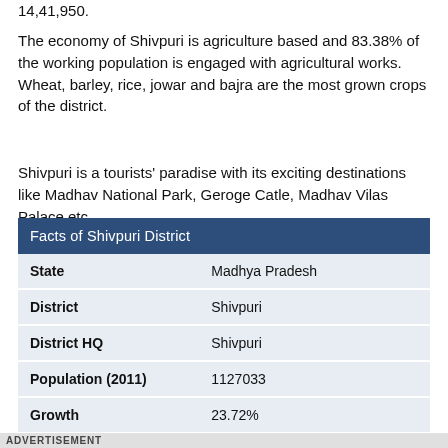14,41,950.
The economy of Shivpuri is agriculture based and 83.38% of the working population is engaged with agricultural works. Wheat, barley, rice, jowar and bajra are the most grown crops of the district.
Shivpuri is a tourists' paradise with its exciting destinations like Madhav National Park, Geroge Catle, Madhav Vilas Palace etc.
| Facts of Shivpuri District |  |
| --- | --- |
| State | Madhya Pradesh |
| District | Shivpuri |
| District HQ | Shivpuri |
| Population (2011) | 1127033 |
| Growth | 23.72% |
| Sex Ratio | 957 |
ADVERTISEMENT